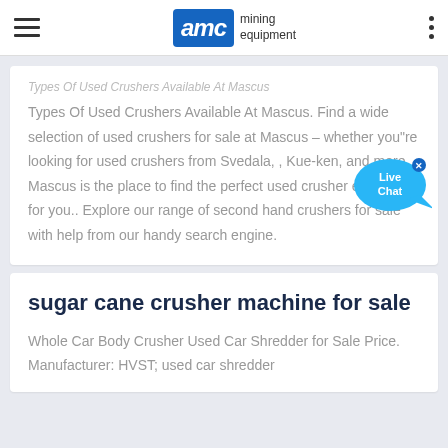AMC mining equipment
Types Of Used Crushers Available At Mascus. Find a wide selection of used crushers for sale at Mascus – whether you"re looking for used crushers from Svedala, , Kue-ken, and more, Mascus is the place to find the perfect used crusher equipment for you.. Explore our range of second hand crushers for sale with help from our handy search engine.
sugar cane crusher machine for sale
Whole Car Body Crusher Used Car Shredder for Sale Price. Manufacturer: HVST; used car shredder